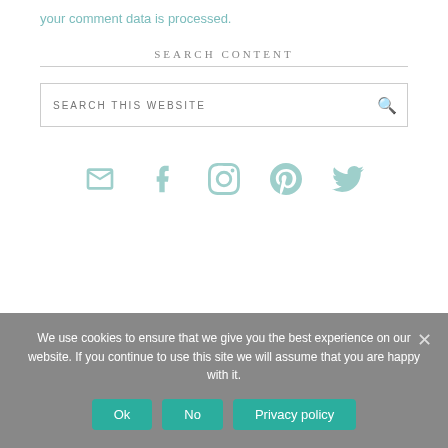your comment data is processed.
SEARCH CONTENT
SEARCH THIS WEBSITE
[Figure (other): Social media icons row: mail, facebook, instagram, pinterest, twitter]
We use cookies to ensure that we give you the best experience on our website. If you continue to use this site we will assume that you are happy with it.
Ok  No  Privacy policy